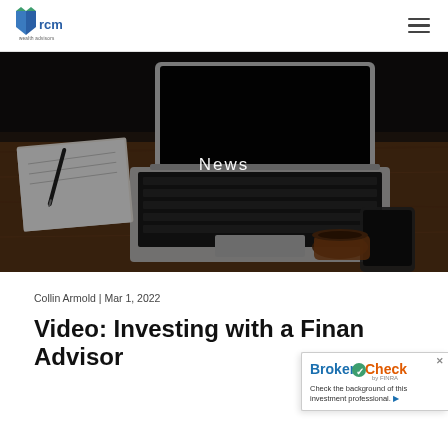RCM Wealth Advisors
[Figure (photo): Laptop computer open on a wooden desk with a notebook, pen, smartphone, and coffee cup in a dark-toned setting. The word 'News' is overlaid in white text.]
Collin Armold | Mar 1, 2022
Video: Investing with a Financial Advisor
[Figure (logo): BrokerCheck by FINRA badge with text: Check the background of this investment professional.]